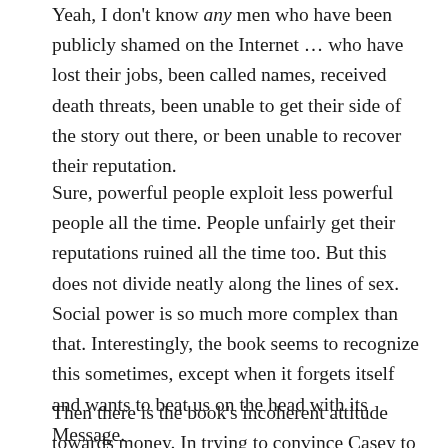Yeah, I don't know any men who have been publicly shamed on the Internet … who have lost their jobs, been called names, received death threats, been unable to get their side of the story out there, or been unable to recover their reputation.
Sure, powerful people exploit less powerful people all the time. People unfairly get their reputations ruined all the time too. But this does not divide neatly along the lines of sex. Social power is so much more complex than that. Interestingly, the book seems to recognize this sometimes, except when it forgets itself and wants to beat us on the head with its Message.
Then there is the book's incoherent attitude towards money. In trying to convince Casey to get authors to rep